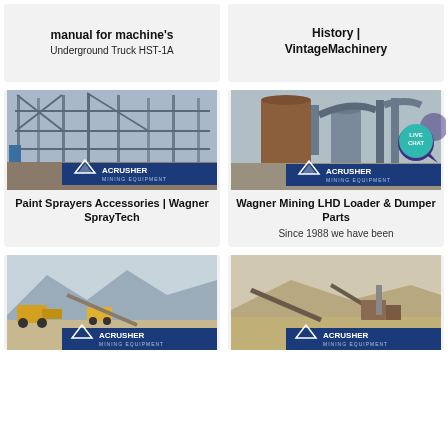manual for machine's
Underground Truck HST-1A
History |
VintageMachinery
[Figure (photo): Industrial steel frame structure with conveyor and mining equipment, ACRUSHER Mining Equipment logo visible]
Paint Sprayers Accessories | Wagner SprayTech
[Figure (photo): Large industrial silos and pipes at a mining facility, ACRUSHER Mining Equipment logo visible]
Wagner Mining LHD Loader & Dumper Parts
Since 1988 we have been
[Figure (photo): Open pit mining operation with yellow heavy equipment and mountains in background, ACRUSHER Mining Equipment logo]
[Figure (photo): Mining crushing plant with conveyor belts in arid landscape, ACRUSHER Mining Equipment logo]